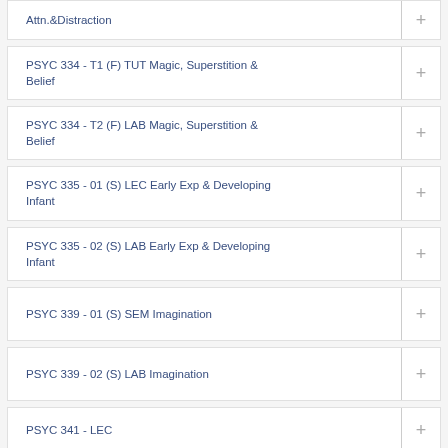Attn.&Distraction
PSYC 334 - T1 (F) TUT Magic, Superstition & Belief
PSYC 334 - T2 (F) LAB Magic, Superstition & Belief
PSYC 335 - 01 (S) LEC Early Exp & Developing Infant
PSYC 335 - 02 (S) LAB Early Exp & Developing Infant
PSYC 339 - 01 (S) SEM Imagination
PSYC 339 - 02 (S) LAB Imagination
PSYC 341 - LEC